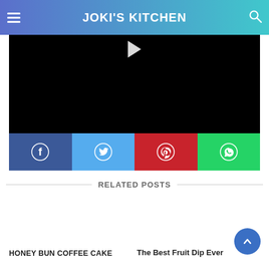JOKI'S KITCHEN
[Figure (screenshot): Black video player area with a play button triangle at top center]
[Figure (infographic): Social sharing buttons: Facebook (dark blue), Twitter (light blue), Pinterest (red), WhatsApp (green), each with respective icons]
RELATED POSTS
HONEY BUN COFFEE CAKE
The Best Fruit Dip Ever